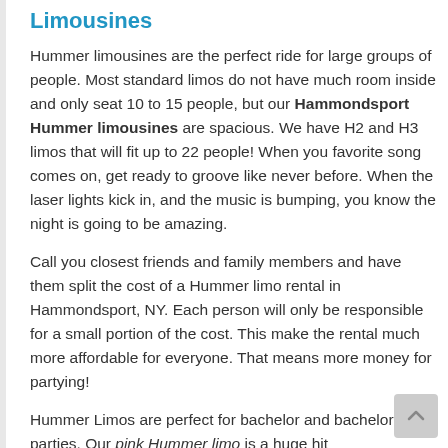Limousines
Hummer limousines are the perfect ride for large groups of people. Most standard limos do not have much room inside and only seat 10 to 15 people, but our Hammondsport Hummer limousines are spacious. We have H2 and H3 limos that will fit up to 22 people! When you favorite song comes on, get ready to groove like never before. When the laser lights kick in, and the music is bumping, you know the night is going to be amazing.
Call you closest friends and family members and have them split the cost of a Hummer limo rental in Hammondsport, NY. Each person will only be responsible for a small portion of the cost. This make the rental much more affordable for everyone. That means more money for partying!
Hummer Limos are perfect for bachelor and bachelorette parties. Our pink Hummer limo is a huge hit for bachelorette parties and more. The white